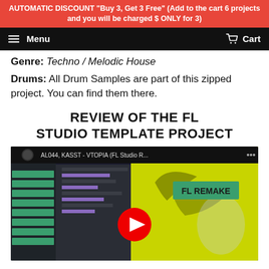AUTOMATIC DISCOUNT "Buy 3, Get 3 Free" (Add to the cart 6 projects and you will be charged $ ONLY for 3)
Menu | Cart
Genre: Techno / Melodic House
Drums: All Drum Samples are part of this zipped project. You can find them there.
REVIEW OF THE FL STUDIO TEMPLATE PROJECT
[Figure (screenshot): YouTube video embed showing FL Studio project review thumbnail: AL044, KASST - VTOPIA (FL Studio R...) with FL Studio interface visible on left and a yellow-green background with bird image on right, featuring a red YouTube play button in center.]